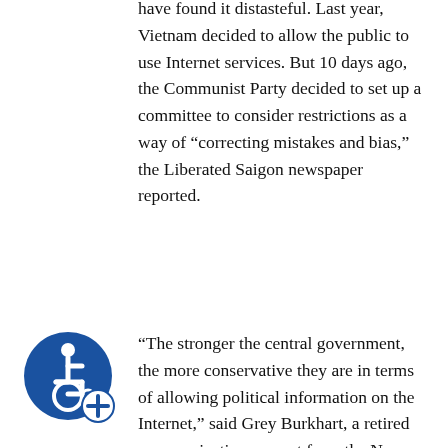have found it distasteful. Last year, Vietnam decided to allow the public to use Internet services. But 10 days ago, the Communist Party decided to set up a committee to consider restrictions as a way of “correcting mistakes and bias,” the Liberated Saigon newspaper reported.
“The stronger the central government, the more conservative they are in terms of allowing political information on the Internet,” said Grey Burkhart, a retired communications expert from the Navy reserve who helps international groups get access to technology.
Burkhart has taken a special interest in developing countries, including Russia, Bosnia, and Syria. It isn’t easy. Despite the government’s pledges to open Syria, the country still has no Internet service provider. To access the Internet, computer users have to
[Figure (illustration): Blue circular accessibility icon with wheelchair symbol and a plus/zoom symbol in the lower right corner]